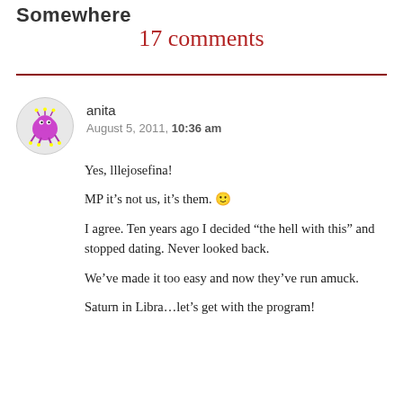Somewhere
17 comments
anita
August 5, 2011, 10:36 am
Yes, lllejosefina!

MP it's not us, it's them. 🙂

I agree. Ten years ago I decided “the hell with this” and stopped dating. Never looked back.

We’ve made it too easy and now they’ve run amuck.

Saturn in Libra…let’s get with the program!